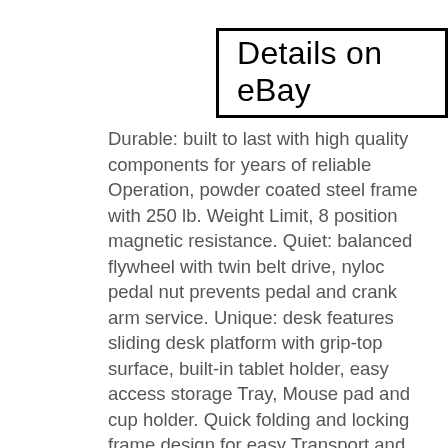Details on eBay
Durable: built to last with high quality components for years of reliable Operation, powder coated steel frame with 250 lb. Weight Limit, 8 position magnetic resistance. Quiet: balanced flywheel with twin belt drive, nyloc pedal nut prevents pedal and crank arm service. Unique: desk features sliding desk platform with grip-top surface, built-in tablet holder, easy access storage Tray, Mouse pad and cup holder. Quick folding and locking frame design for easy Transport and storage, Assembly takes one person approx. 30 minutes-all Required tools provided, 3-D interactive app makes Assembly easy and stress free. Adjustable: 3 position recumbent frame, comfortable: extra cushioned set and tall backrest. PACKAGE MIGHT BE SLIGHTLY